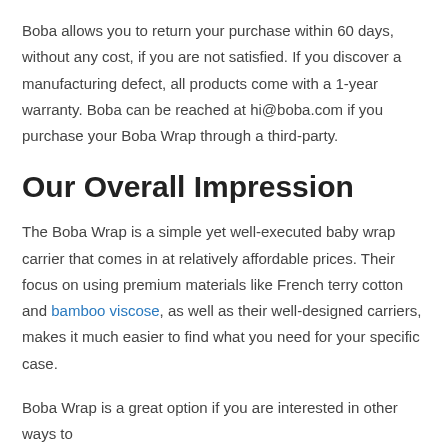Boba allows you to return your purchase within 60 days, without any cost, if you are not satisfied. If you discover a manufacturing defect, all products come with a 1-year warranty. Boba can be reached at hi@boba.com if you purchase your Boba Wrap through a third-party.
Our Overall Impression
The Boba Wrap is a simple yet well-executed baby wrap carrier that comes in at relatively affordable prices. Their focus on using premium materials like French terry cotton and bamboo viscose, as well as their well-designed carriers, makes it much easier to find what you need for your specific case.
Boba Wrap is a great option if you are interested in other ways to